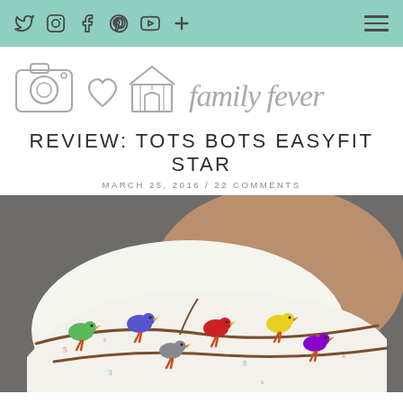Navigation bar with social icons (Twitter, Instagram, Facebook, Pinterest, YouTube, Plus) and hamburger menu
[Figure (logo): Family Fever blog logo with outline illustrations of a camera, heart, and beach hut alongside cursive text 'family fever']
REVIEW: TOTS BOTS EASYFIT STAR
MARCH 25, 2016 / 22 COMMENTS
[Figure (photo): Close-up photograph of a cloth diaper with a colorful bird pattern showing various colored birds sitting on branches, worn on a baby]